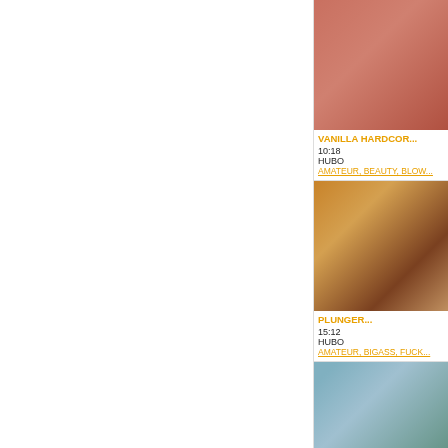[Figure (photo): Thumbnail image for video 1 - skin tones reddish]
VANILLA HARDCORE
10:18
HUBO
AMATEUR, BEAUTY, BLOW
[Figure (photo): Thumbnail image for video 2 - warm brown tones bedroom scene]
PLUNGER
15:12
HUBO
AMATEUR, BIGASS, FUCK
[Figure (photo): Thumbnail image for video 3 - blue/teal tones with hands]